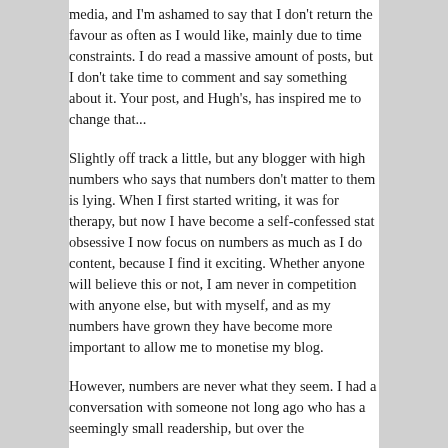media, and I'm ashamed to say that I don't return the favour as often as I would like, mainly due to time constraints. I do read a massive amount of posts, but I don't take time to comment and say something about it. Your post, and Hugh's, has inspired me to change that...
Slightly off track a little, but any blogger with high numbers who says that numbers don't matter to them is lying. When I first started writing, it was for therapy, but now I have become a self-confessed stat obsessive I now focus on numbers as much as I do content, because I find it exciting. Whether anyone will believe this or not, I am never in competition with anyone else, but with myself, and as my numbers have grown they have become more important to allow me to monetise my blog.
However, numbers are never what they seem. I had a conversation with someone not long ago who has a seemingly small readership, but over the